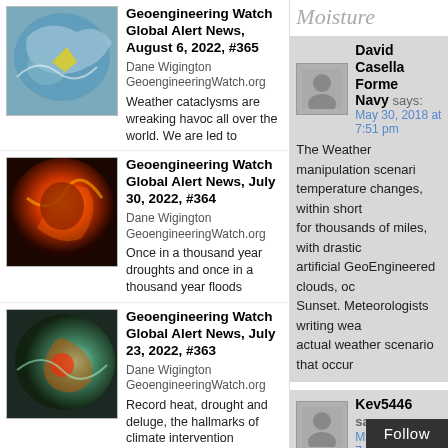[Figure (illustration): Satellite image thumbnail showing swirling clouds with yellow highlight – Geoengineering Watch thumbnail for August 6, 2022 #365]
Geoengineering Watch Global Alert News, August 6, 2022, #365
Dane Wigington GeoengineeringWatch.org
Weather cataclysms are wreaking havoc all over the world. We are led to
[Figure (illustration): Satellite image thumbnail showing fire/heat wave colors – Geoengineering Watch thumbnail for July 30, 2022 #364]
Geoengineering Watch Global Alert News, July 30, 2022, #364
Dane Wigington GeoengineeringWatch.org
Once in a thousand year droughts and once in a thousand year floods
[Figure (illustration): Satellite image thumbnail showing storm system in teal/orange – Geoengineering Watch thumbnail for July 23, 2022 #363]
Geoengineering Watch Global Alert News, July 23, 2022, #363
Dane Wigington GeoengineeringWatch.org
Record heat, drought and deluge, the hallmarks of climate intervention operations. Far worse
[Figure (illustration): Satellite image thumbnail in teal/aqua – Geoengineering Watch thumbnail for July 16, 2022 #362]
Geoengineering Watch Global Alert News, July 16, 2022, #362
Moisture
David Casella Forme
Navy says:
May 30, 2018 at 7:51 pm
The Weather manipulation scenari... temperature changes, within short ... for thousands of miles, with drastic... artificial GeoEngineered clouds, o... Sunset. Meteorologists writing wea... actual weather scenario that occur...
Kev5446 says:
May 16, 2018 at 7:07 am
Well in Spain they create rain & ha... synthetic "ice" it was too difficult to... but it took three day...